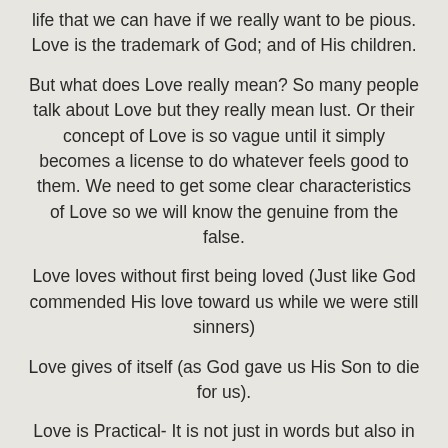life that we can have if we really want to be pious. Love is the trademark of God; and of His children.
But what does Love really mean? So many people talk about Love but they really mean lust. Or their concept of Love is so vague until it simply becomes a license to do whatever feels good to them. We need to get some clear characteristics of Love so we will know the genuine from the false.
Love loves without first being loved (Just like God commended His love toward us while we were still sinners)
Love gives of itself (as God gave us His Son to die for us).
Love is Practical- It is not just in words but also in deeds. It is not just the way you talk but what you do.